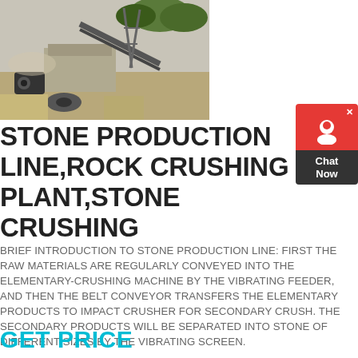[Figure (photo): Outdoor stone crushing plant / quarry facility with heavy machinery, conveyor belts, and concrete structures under a hazy sky.]
STONE PRODUCTION LINE,ROCK CRUSHING PLANT,STONE CRUSHING
BRIEF INTRODUCTION TO STONE PRODUCTION LINE: FIRST THE RAW MATERIALS ARE REGULARLY CONVEYED INTO THE ELEMENTARY-CRUSHING MACHINE BY THE VIBRATING FEEDER, AND THEN THE BELT CONVEYOR TRANSFERS THE ELEMENTARY PRODUCTS TO IMPACT CRUSHER FOR SECONDARY CRUSH. THE SECONDARY PRODUCTS WILL BE SEPARATED INTO STONE OF DIFFERENT SIZES BY THE VIBRATING SCREEN.
GET PRICE